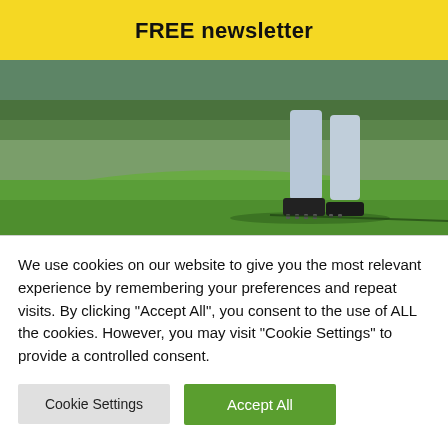FREE newsletter
[Figure (photo): Close-up photo of a golfer's lower legs and feet on a golf course green, wearing light grey trousers and black spiked golf shoes, with grass and blurred trees in background.]
We use cookies on our website to give you the most relevant experience by remembering your preferences and repeat visits. By clicking "Accept All", you consent to the use of ALL the cookies. However, you may visit "Cookie Settings" to provide a controlled consent.
Cookie Settings | Accept All